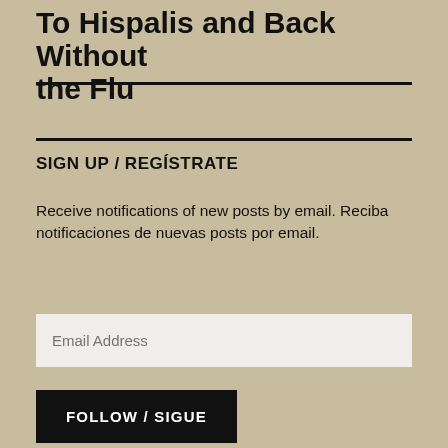To Hispalis and Back Without the Flu
SIGN UP / REGÍSTRATE
Receive notifications of new posts by email. Reciba notificaciones de nuevas posts por email.
Email Address
FOLLOW / SIGUE